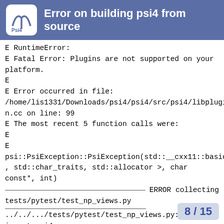Error on building psi4 from source
E RuntimeError:
E Fatal Error: Plugins are not supported on your platform.
E
E Error occurred in file:
/home/lis1331/Downloads/psi4/psi4/src/psi4/libplugin/load_plugin.cc on line: 99
E The most recent 5 function calls were:
E
E
psi::PsiException::PsiException(std::__cxx11::basic_string<char, std::char_traits, std::allocator >, char const*, int)
_______________________________ ERROR collecting tests/pytest/test_np_views.py

_______________________________
../../.../tests/pytest/test_np_views.py:7: in
import psi4
../../.../stage/home/lis1331/psi4/lib/psi4/__init__.py:83: in
from .driver import endorsed_plugins
../../.../stage/home/lis1331/psi4/lib/psi4/driv
8 / 15